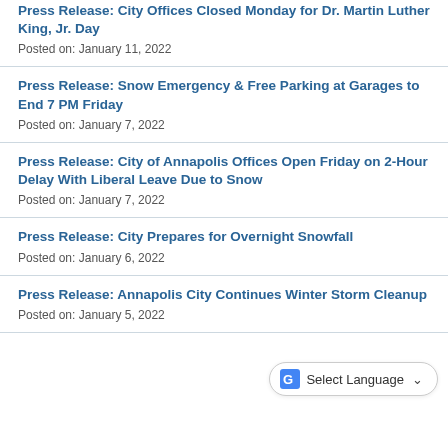Press Release: City Offices Closed Monday for Dr. Martin Luther King, Jr. Day
Posted on: January 11, 2022
Press Release: Snow Emergency & Free Parking at Garages to End 7 PM Friday
Posted on: January 7, 2022
Press Release: City of Annapolis Offices Open Friday on 2-Hour Delay With Liberal Leave Due to Snow
Posted on: January 7, 2022
Press Release: City Prepares for Overnight Snowfall
Posted on: January 6, 2022
Press Release: Annapolis City Continues Winter Storm Cleanup
Posted on: January 5, 2022